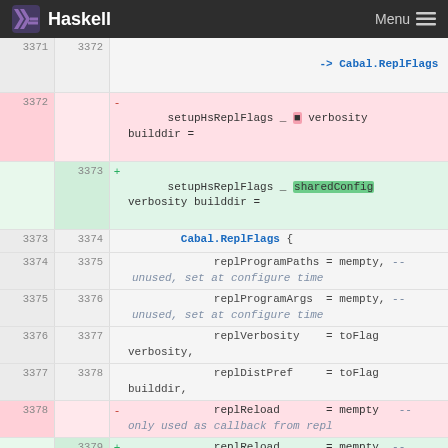Haskell — Menu
Diff view of Haskell source code showing changes to setupHsReplFlags function, lines 3371-3380
| old ln | new ln | sign | code |
| --- | --- | --- | --- |
| 3371 | 3372 |  | -> Cabal.ReplFlags |
| 3372 |  | -  | setupHsReplFlags _ [pink] verbosity builddir = |
|  | 3373 | +  | setupHsReplFlags _ [sharedConfig] verbosity builddir = |
| 3373 | 3374 |  | Cabal.ReplFlags { |
| 3374 | 3375 |  | replProgramPaths = mempty, -- unused, set at configure time |
| 3375 | 3376 |  | replProgramArgs = mempty, -- unused, set at configure time |
| 3376 | 3377 |  | replVerbosity = toFlag verbosity, |
| 3377 | 3378 |  | replDistPref = toFlag builddir, |
| 3378 |  | -  | replReload = mempty -- only used as callback from repl |
|  | 3379 | +  | replReload = mempty, -- only used as callback from repl |
|  | 3380 | +  | replReplOptions = pkgConfigReplOptions sharedConfig |